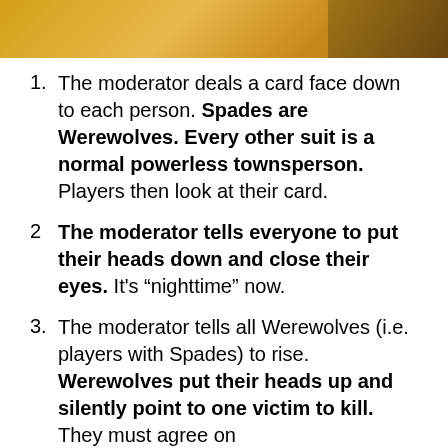[Figure (photo): Partial photo showing a warm golden/amber colored surface, possibly a table or wooden surface, with part of a person visible at the right edge.]
The moderator deals a card face down to each person. Spades are Werewolves. Every other suit is a normal powerless townsperson. Players then look at their card.
The moderator tells everyone to put their heads down and close their eyes. It's “nighttime” now.
The moderator tells all Werewolves (i.e. players with Spades) to rise. Werewolves put their heads up and silently point to one victim to kill. They must agree on